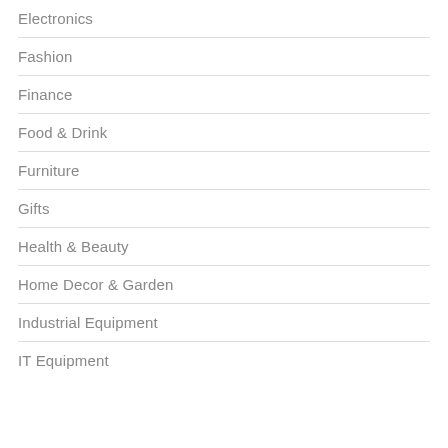Electronics
Fashion
Finance
Food & Drink
Furniture
Gifts
Health & Beauty
Home Decor & Garden
Industrial Equipment
IT Equipment